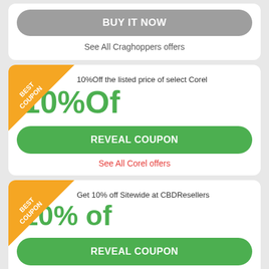BUY IT NOW
See All Craghoppers offers
10%Off the listed price of select Corel
10%Of
REVEAL COUPON
See All Corel offers
Get 10% off Sitewide at CBDResellers
10% of
REVEAL COUPON
See All CBDResellers offers